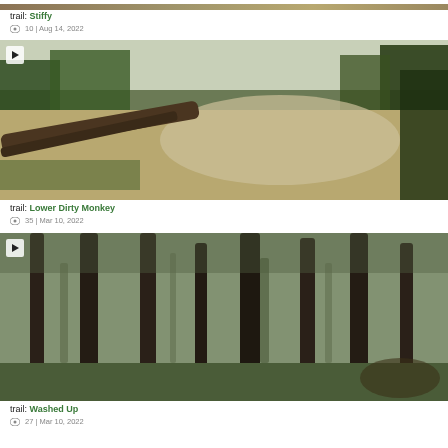[Figure (photo): Partial trail photo at top of page — cropped, showing outdoor trail scene for 'Stiffy']
trail: Stiffy
👁 10 | Aug 14, 2022
[Figure (photo): Video thumbnail of a mountain bike trail with fallen trees and an open sandy area — trail 'Lower Dirty Monkey', with play button overlay]
trail: Lower Dirty Monkey
👁 35 | Mar 10, 2022
[Figure (photo): Video thumbnail of a dense pine forest trail — trail 'Washed Up', with play button overlay]
trail: Washed Up
👁 27 | Mar 10, 2022